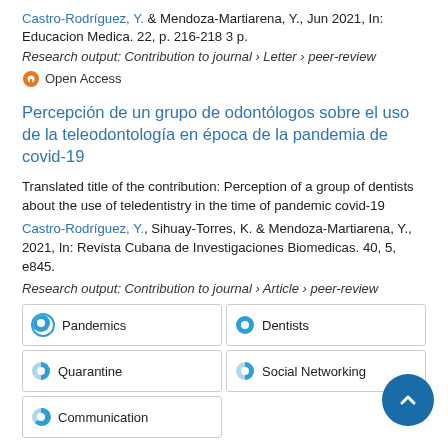Castro-Rodríguez, Y. & Mendoza-Martiarena, Y., Jun 2021, In: Educacion Medica. 22, p. 216-218 3 p.
Research output: Contribution to journal › Letter › peer-review
Open Access
Percepción de un grupo de odontólogos sobre el uso de la teleodontología en época de la pandemia de covid-19
Translated title of the contribution: Perception of a group of dentists about the use of teledentistry in the time of pandemic covid-19
Castro-Rodríguez, Y., Sihuay-Torres, K. & Mendoza-Martiarena, Y., 2021, In: Revista Cubana de Investigaciones Biomedicas. 40, 5, e845.
Research output: Contribution to journal › Article › peer-review
Pandemics
Dentists
Quarantine
Social Networking
Communication